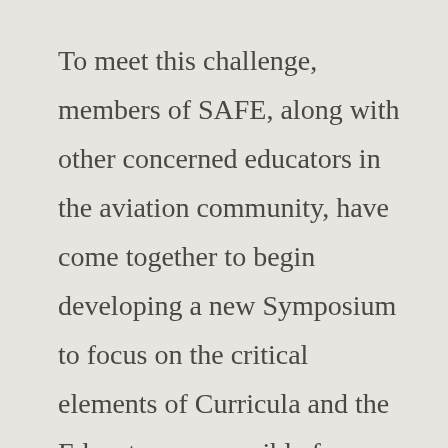To meet this challenge, members of SAFE, along with other concerned educators in the aviation community, have come together to begin developing a new Symposium to focus on the critical elements of Curricula and the Educators responsible for teaching others to fly and to maintain their skills. The stubborn